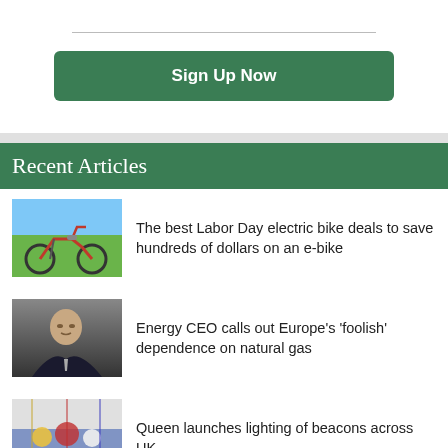[Figure (other): Horizontal divider line]
Sign Up Now
Recent Articles
[Figure (photo): Red electric tricycle on a path outdoors]
The best Labor Day electric bike deals to save hundreds of dollars on an e-bike
[Figure (photo): Elderly man in suit gesturing, against a dark background]
Energy CEO calls out Europe's 'foolish' dependence on natural gas
[Figure (photo): Colorful flags or celebration scene]
Queen launches lighting of beacons across UK